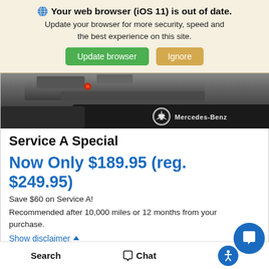Your web browser (iOS 11) is out of date. Update your browser for more security, speed and the best experience on this site.
[Figure (screenshot): Mercedes-Benz engine bay close-up photo with Mercedes-Benz logo and text]
Service A Special
Now Only $189.95 (reg. $249.95)
Save $60 on Service A!
Recommended after 10,000 miles or 12 months from your purchase.
Show disclaimer
Search   Chat